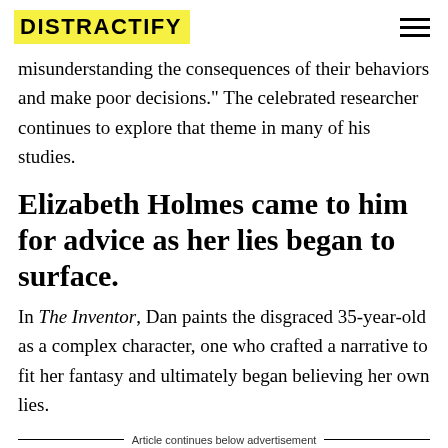DISTRACTIFY
misunderstanding the consequences of their behaviors and make poor decisions." The celebrated researcher continues to explore that theme in many of his studies.
Elizabeth Holmes came to him for advice as her lies began to surface.
In The Inventor, Dan paints the disgraced 35-year-old as a complex character, one who crafted a narrative to fit her fantasy and ultimately began believing her own lies.
Article continues below advertisement